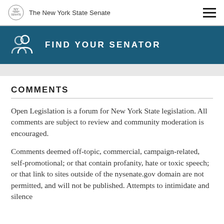The New York State Senate
FIND YOUR SENATOR
COMMENTS
Open Legislation is a forum for New York State legislation. All comments are subject to review and community moderation is encouraged.
Comments deemed off-topic, commercial, campaign-related, self-promotional; or that contain profanity, hate or toxic speech; or that link to sites outside of the nysenate.gov domain are not permitted, and will not be published. Attempts to intimidate and silence community members like you and other public discourse...